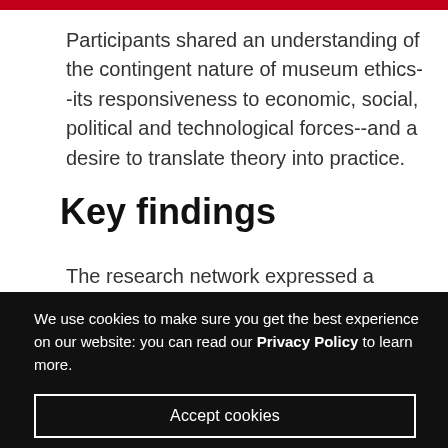Participants shared an understanding of the contingent nature of museum ethics--its responsiveness to economic, social, political and technological forces--and a desire to translate theory into practice.
Key findings
The research network expressed a compelling need for change in museums through the framework of new
We use cookies to make sure you get the best experience on our website: you can read our Privacy Policy to learn more.
Accept cookies